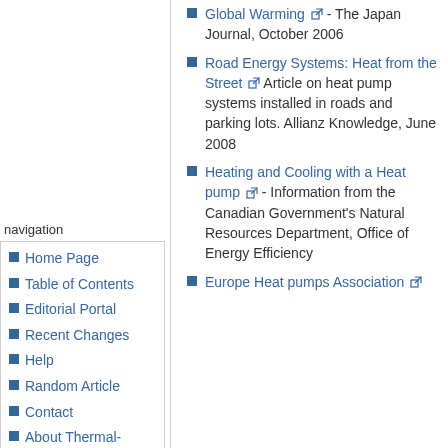Global Warming - The Japan Journal, October 2006
Road Energy Systems: Heat from the Street Article on heat pump systems installed in roads and parking lots. Allianz Knowledge, June 2008
Heating and Cooling with a Heat pump - Information from the Canadian Government's Natural Resources Department, Office of Energy Efficiency
Europe Heat pumps Association
navigation
Home Page
Table of Contents
Editorial Portal
Recent Changes
Help
Random Article
Contact
About Thermal-FluidsPedia
search